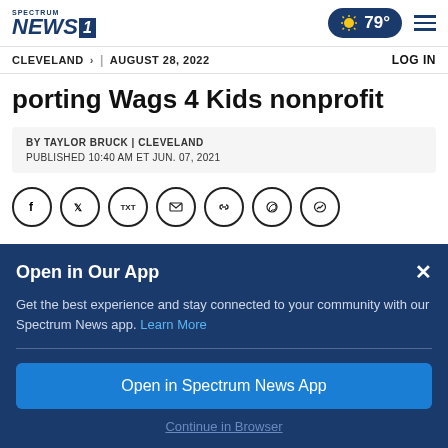Spectrum NEWS1 | 79° | menu | CLEVELAND > | AUGUST 28, 2022 | LOG IN
porting Wags 4 Kids nonprofit
BY TAYLOR BRUCK | CLEVELAND
PUBLISHED 10:40 AM ET JUN. 07, 2021
[Figure (infographic): Social sharing icons row: Facebook, Twitter, TXT, Email, Link, WhatsApp, Messenger]
Open in Our App
Get the best experience and stay connected to your community with our Spectrum News app. Learn More
Open in Spectrum News App
Continue in Browser